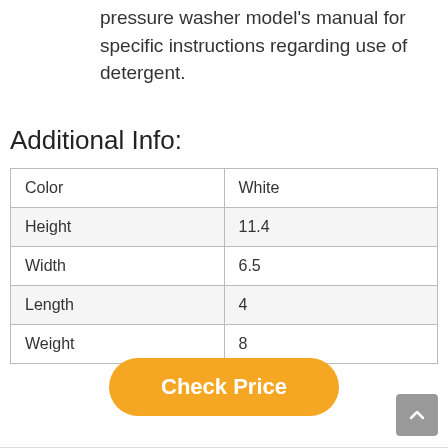pressure washer model's manual for specific instructions regarding use of detergent.
Additional Info:
| Color | White |
| Height | 11.4 |
| Width | 6.5 |
| Length | 4 |
| Weight | 8 |
Check Price